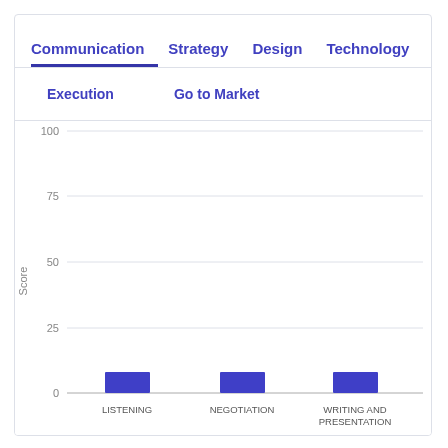Communication  Strategy  Design  Technology
Execution  Go to Market
[Figure (bar-chart): ]